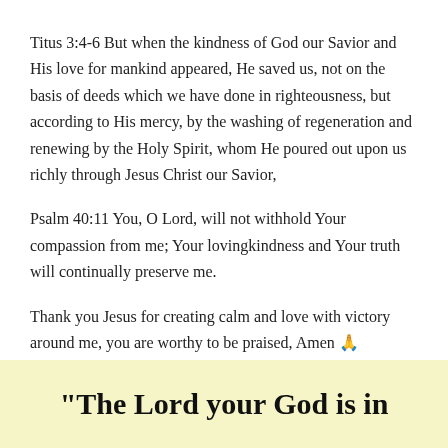Titus 3:4-6 But when the kindness of God our Savior and His love for mankind appeared, He saved us, not on the basis of deeds which we have done in righteousness, but according to His mercy, by the washing of regeneration and renewing by the Holy Spirit, whom He poured out upon us richly through Jesus Christ our Savior,
Psalm 40:11 You, O Lord, will not withhold Your compassion from me; Your lovingkindness and Your truth will continually preserve me.
Thank you Jesus for creating calm and love with victory around me, you are worthy to be praised, Amen 🙏
[Figure (other): Yellow banner with bold text: "The Lord your God is in"]